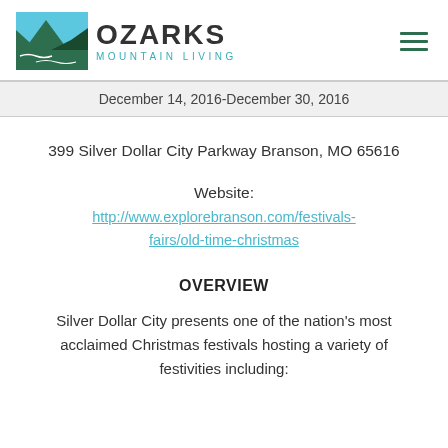[Figure (logo): Ozarks Mountain Living logo with mountain/water landscape graphic and text]
December 14, 2016-December 30, 2016
399 Silver Dollar City Parkway Branson, MO 65616
Website: http://www.explorebranson.com/festivals-fairs/old-time-christmas
OVERVIEW
Silver Dollar City presents one of the nation's most acclaimed Christmas festivals hosting a variety of festivities including: